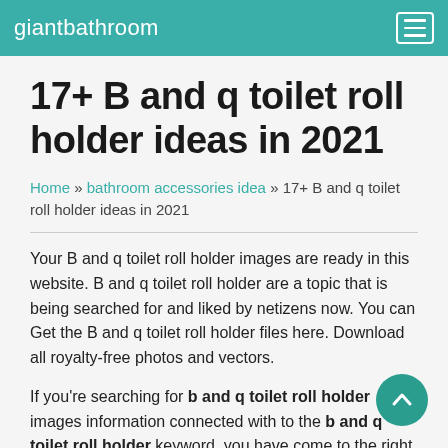giantbathroom
17+ B and q toilet roll holder ideas in 2021
Home » bathroom accessories idea » 17+ B and q toilet roll holder ideas in 2021
Your B and q toilet roll holder images are ready in this website. B and q toilet roll holder are a topic that is being searched for and liked by netizens now. You can Get the B and q toilet roll holder files here. Download all royalty-free photos and vectors.
If you're searching for b and q toilet roll holder images information connected with to the b and q toilet roll holder keyword, you have come to the right site. Our site frequently gives you suggestions for seeing the maximum